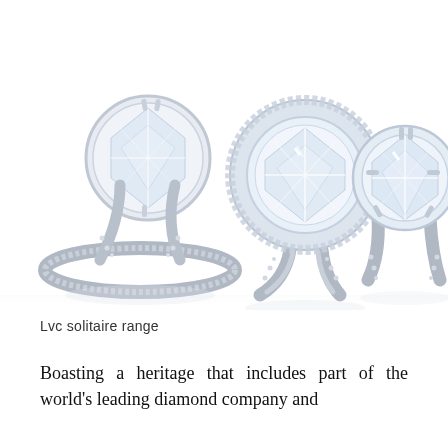[Figure (photo): Three diamond solitaire engagement rings arranged together on a white background. The left ring features a round brilliant diamond set with a pave-set band. The center ring has a round diamond with a halo of smaller diamonds and a double pave band. The right ring features a large round brilliant diamond with a pave-set band. All rings are platinum or white gold. Reflections visible beneath the rings.]
Lvc solitaire range
Boasting a heritage that includes part of the world's leading diamond company and